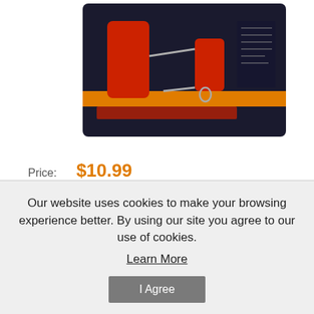[Figure (photo): Product photo of paint roller set in dark retail packaging with orange bar. Red foam rollers and metal frame visible.]
Price: $10.99
MSRP: 13.99
SKU: R10015
Quantity: 1
Our website uses cookies to make your browsing experience better. By using our site you agree to our use of cookies. Learn More
I Agree